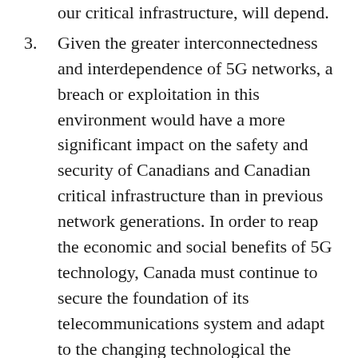our critical infrastructure, will depend.
3. Given the greater interconnectedness and interdependence of 5G networks, a breach or exploitation in this environment would have a more significant impact on the safety and security of Canadians and Canadian critical infrastructure than in previous network generations. In order to reap the economic and social benefits of 5G technology, Canada must continue to secure the foundation of its telecommunications system and adapt to the changing technological the